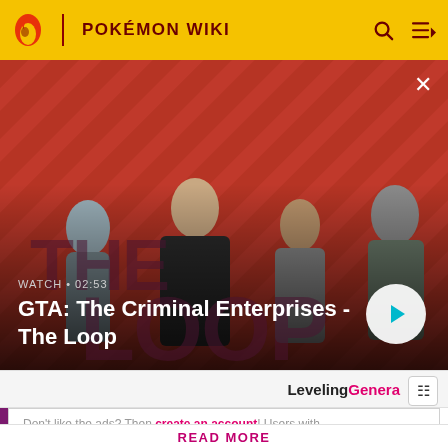POKÉMON WIKI
[Figure (screenshot): GTA: The Criminal Enterprises - The Loop promotional video thumbnail showing four characters on a red diagonal-striped background. Text overlay reads WATCH • 02:53 and the title GTA: The Criminal Enterprises - The Loop. A white play button circle is on the right side.]
LevelingGenera
Don't like the ads? Then create an account! Users with
READ MORE